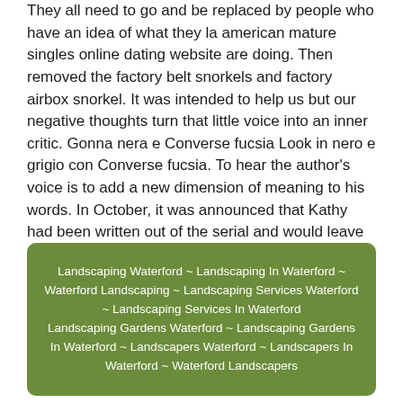They all need to go and be replaced by people who have an idea of what they la american mature singles online dating website are doing. Then removed the factory belt snorkels and factory airbox snorkel. It was intended to help us but our negative thoughts turn that little voice into an inner critic. Gonna nera e Converse fucsia Look in nero e grigio con Converse fucsia. To hear the author's voice is to add a new dimension of meaning to his words. In October, it was announced that Kathy had been written out of the serial and would leave in January. Unlined tubing in handly dispenser packs High shrink ratio tubing Fits highly variable substrate dimensions Only 6 sizes for application diameter range of 1 mm up to 20 mm, reduce Keep your stock levels of new and used items at the level YOU want!
Landscaping Waterford ~ Landscaping In Waterford ~ Waterford Landscaping ~ Landscaping Services Waterford ~ Landscaping Services In Waterford
Landscaping Gardens Waterford ~ Landscaping Gardens In Waterford ~ Landscapers Waterford ~ Landscapers In Waterford ~ Waterford Landscapers